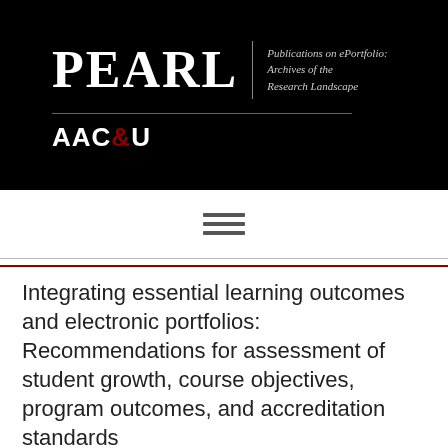[Figure (logo): PEARL journal logo on black background with AAC&U branding. PEARL stands for Publications on ePortfolio: Archives of the Research Landscape.]
Integrating essential learning outcomes and electronic portfolios: Recommendations for assessment of student growth, course objectives, program outcomes, and accreditation standards
Sowers, K. L., & Meyers, S. (2021). Integrating